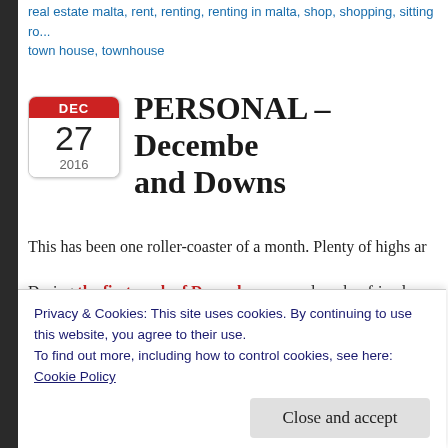real estate malta, rent, renting, renting in malta, shop, shopping, sitting ro... town house, townhouse
PERSONAL – December... and Downs
This has been one roller-coaster of a month. Plenty of highs ar...
During the first week of December, me and my boyfriend w... break. You can read the first part of how that went here, but ... about the rest of the trip. You might ask yourself – why is she n... mere 4-day long trip? The point is, I love travelling – I am sin... of emotions, new thoughts and ways of perceiving the world... foot in a country different from my own, with 'exotic' mental...
Privacy & Cookies: This site uses cookies. By continuing to use this website, you agree to their use.
To find out more, including how to control cookies, see here:
Cookie Policy
Close and accept